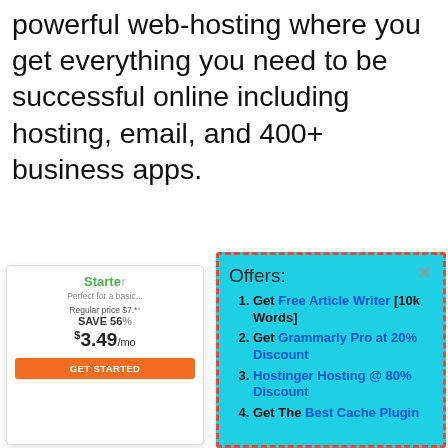powerful web-hosting where you get everything you need to be successful online including hosting, email, and 400+ business apps.
[Figure (screenshot): Partially visible pricing card showing 'Starter' plan with 'Perfect for a basic...', 'Regular price $7.*', 'SAVE 56%', '$3.49/mo', and 'GET STARTED' orange button]
These th... features... more ab...
Mana...
[Figure (infographic): Cyan popup dialog with dashed red border showing 'Offers:' title with × close button, listing 4 items: 1. Get Free Article Writer [10k Words], 2. Get Grammarly Pro at 20% Discount, 3. Hostinger Hosting @ 80% Discount, 4. Get The Best Cache Plugin]